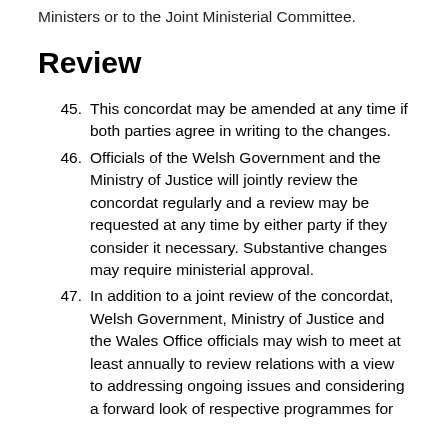Ministers or to the Joint Ministerial Committee.
Review
45. This concordat may be amended at any time if both parties agree in writing to the changes.
46. Officials of the Welsh Government and the Ministry of Justice will jointly review the concordat regularly and a review may be requested at any time by either party if they consider it necessary. Substantive changes may require ministerial approval.
47. In addition to a joint review of the concordat, Welsh Government, Ministry of Justice and the Wales Office officials may wish to meet at least annually to review relations with a view to addressing ongoing issues and considering a forward look of respective programmes for